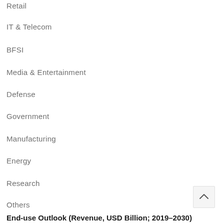Retail
IT & Telecom
BFSI
Media & Entertainment
Defense
Government
Manufacturing
Energy
Research
Others
End-use Outlook (Revenue, USD Billion; 2019–2030)